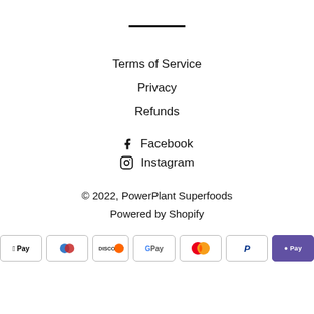[Figure (other): Horizontal divider line]
Terms of Service
Privacy
Refunds
Facebook
Instagram
© 2022, PowerPlant Superfoods
Powered by Shopify
[Figure (other): Payment method icons: American Express, Apple Pay, Diners Club, Discover, Google Pay, Mastercard, PayPal, Shop Pay, Visa]